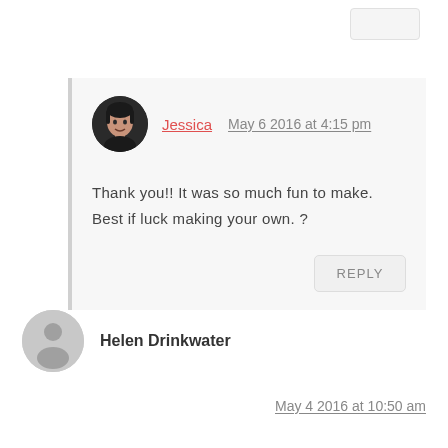Jessica   May 6 2016 at 4:15 pm
Thank you!! It was so much fun to make. Best if luck making your own. ?
REPLY
Helen Drinkwater
May 4 2016 at 10:50 am